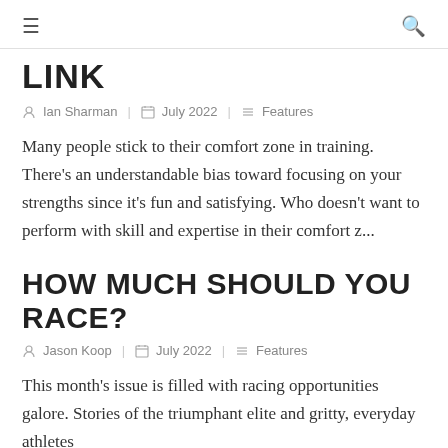≡  🔍
LINK
Ian Sharman  |  July 2022  |  Features
Many people stick to their comfort zone in training. There's an understandable bias toward focusing on your strengths since it's fun and satisfying. Who doesn't want to perform with skill and expertise in their comfort z...
HOW MUCH SHOULD YOU RACE?
Jason Koop  |  July 2022  |  Features
This month's issue is filled with racing opportunities galore. Stories of the triumphant elite and gritty, everyday athletes